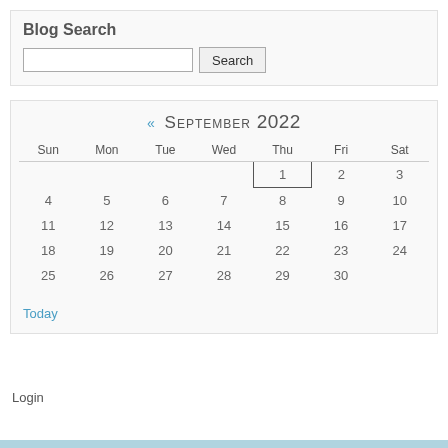Blog Search
[Figure (screenshot): Search input box and Search button]
[Figure (screenshot): Calendar widget showing September 2022 with days Sun-Sat, dates 1-30, day 1 highlighted with border, and a Today link]
Login